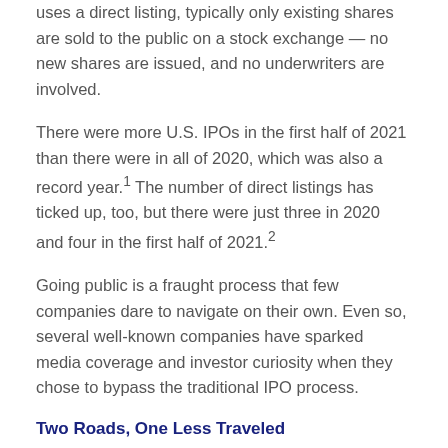uses a direct listing, typically only existing shares are sold to the public on a stock exchange — no new shares are issued, and no underwriters are involved.
There were more U.S. IPOs in the first half of 2021 than there were in all of 2020, which was also a record year.¹ The number of direct listings has ticked up, too, but there were just three in 2020 and four in the first half of 2021.²
Going public is a fraught process that few companies dare to navigate on their own. Even so, several well-known companies have sparked media coverage and investor curiosity when they chose to bypass the traditional IPO process.
Two Roads, One Less Traveled
The path a company takes to the stock market generally depends on its business goals. Companies that pursue a traditional IPO often want to raise as much money as possible for expansion purposes.